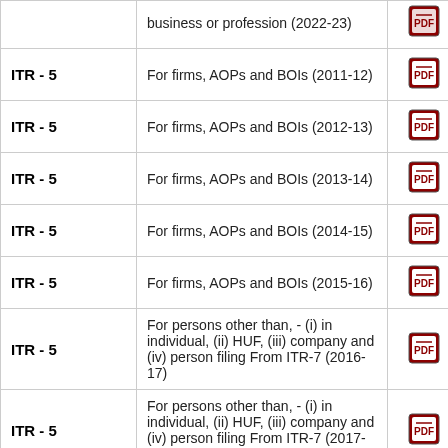| Form | Description | PDF | Other |
| --- | --- | --- | --- |
| ITR - 5 | business or profession (2022-23) | [pdf] |  |
| ITR - 5 | For firms, AOPs and BOIs (2011-12) | [pdf] | [i] |
| ITR - 5 | For firms, AOPs and BOIs (2012-13) | [pdf] |  |
| ITR - 5 | For firms, AOPs and BOIs (2013-14) | [pdf] |  |
| ITR - 5 | For firms, AOPs and BOIs (2014-15) | [pdf] |  |
| ITR - 5 | For firms, AOPs and BOIs (2015-16) | [pdf] |  |
| ITR - 5 | For persons other than, - (i) in individual, (ii) HUF, (iii) company and (iv) person filing From ITR-7 (2016-17) | [pdf] |  |
| ITR - 5 | For persons other than, - (i) in individual, (ii) HUF, (iii) company and (iv) person filing From ITR-7 (2017-18) | [pdf] |  |
| ITR - 5 | For persons other than, - (i) in | [pdf] |  |